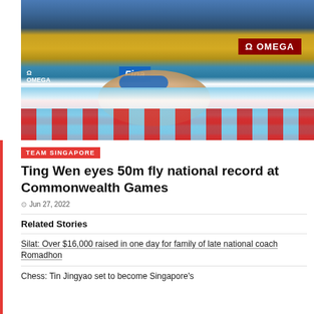[Figure (photo): Female swimmer at a competitive swimming event, pool visible with red lane dividers in foreground, OMEGA sponsor sign in background, FINA branding visible]
TEAM SINGAPORE
Ting Wen eyes 50m fly national record at Commonwealth Games
Jun 27, 2022
Related Stories
Silat: Over $16,000 raised in one day for family of late national coach Romadhon
Chess: Tin Jingyao set to become Singapore's